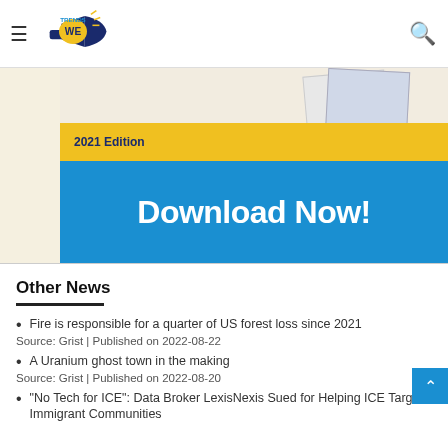TrendsWE — hamburger menu and search icon
[Figure (screenshot): Website banner showing a book cover with '2021 Edition' in a yellow bar and 'Download Now!' text on a blue background]
Other News
Fire is responsible for a quarter of US forest loss since 2021
Source: Grist | Published on 2022-08-22
A Uranium ghost town in the making
Source: Grist | Published on 2022-08-20
"No Tech for ICE": Data Broker LexisNexis Sued for Helping ICE Target Immigrant Communities